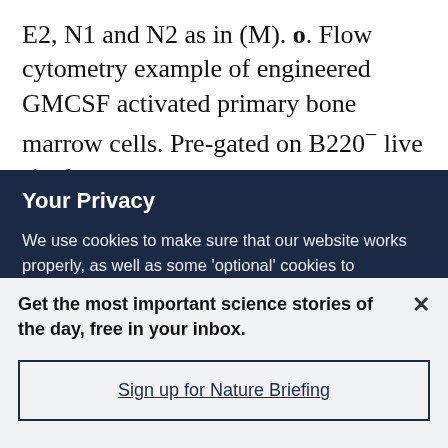E2, N1 and N2 as in (M). o. Flow cytometry example of engineered GMCSF activated primary bone marrow cells. Pre-gated on B220⁻ live singlets. n
Your Privacy
We use cookies to make sure that our website works properly, as well as some 'optional' cookies to personalise content and advertising, provide social media features and analyse how people use our site. By accepting some or all optional cookies you give consent to the processing of your personal data, including transfer to third parties, some in countries outside of the European Economic Area that do not offer the same data protection standards as the country where you live. You can decide which optional cookies to accept by clicking on 'Manage Settings', where you can
Get the most important science stories of the day, free in your inbox.
Sign up for Nature Briefing